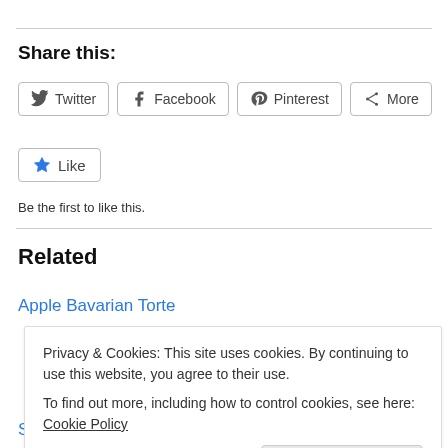Share this:
[Figure (other): Social sharing buttons: Twitter, Facebook, Pinterest, More]
[Figure (other): Like button with star icon]
Be the first to like this.
Related
Apple Bavarian Torte
Privacy & Cookies: This site uses cookies. By continuing to use this website, you agree to their use.
To find out more, including how to control cookies, see here: Cookie Policy
Strawberry Confetti Cookies